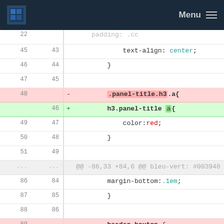[Figure (screenshot): Navigation bar with logo and Menu icon on dark blue background]
Code diff view showing CSS file changes. Lines 45-51 show text-align: center and panel-title selector changes. Lines 86-94 show margin-bottom, header button, float, margin, background, background-size, background-repeat properties.